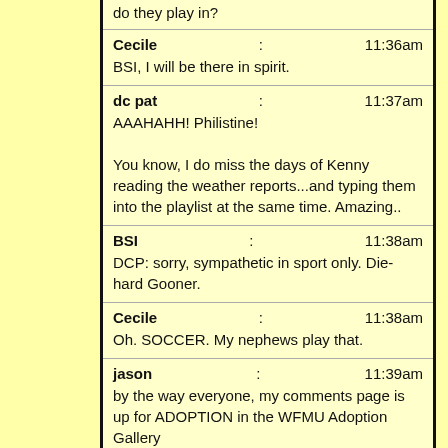do they play in?
Cecile: 11:36am
BSI, I will be there in spirit.
dc pat: 11:37am
AAAHAHH! Philistine!

You know, I do miss the days of Kenny reading the weather reports...and typing them into the playlist at the same time. Amazing..
BSI: 11:38am
DCP: sorry, sympathetic in sport only. Die-hard Gooner.
Cecile: 11:38am
Oh. SOCCER. My nephews play that.
jason: 11:39am
by the way everyone, my comments page is up for ADOPTION in the WFMU Adoption Gallery

http://www.flickr.com/photos/wfmu/5455515733/
dc pat: 11:40am